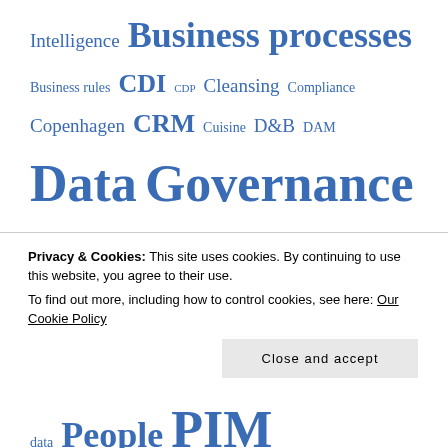[Figure (other): Tag cloud of data governance and data quality related terms in various font sizes, all in blue, including: Intelligence, Business processes, Business rules, CDI, CDP, Cleansing, Compliance, Copenhagen, CRM, Cuisine, D&B, DAM, Data Governance, Data model, DataQualityPro, Digitalization, Diversity, DQM, Duplicates, ecommerce, ERP, Evolution, Facebook, Fit for purpose, Fraud, Fuzzy logic, Gartner, GDPR, Geocode, Graph, Hans Christian Andersen, Happy databases, History, Household, Instant Data Quality, IoT, Laissez faire, LEI, data, People, PIM, Prevention, Privacy, RDM]
Privacy & Cookies: This site uses cookies. By continuing to use this website, you agree to their use.
To find out more, including how to control cookies, see here: Our Cookie Policy
Close and accept
data People PIM Prevention Privacy RDM